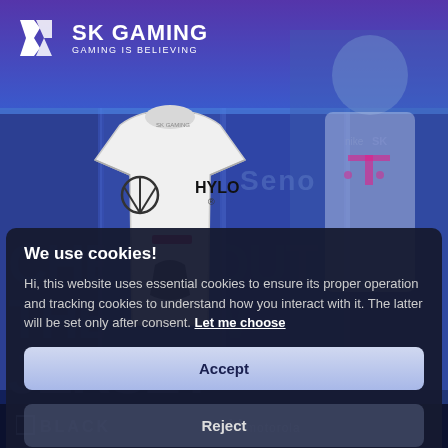[Figure (screenshot): SK Gaming website screenshot showing a jersey product page with a white jersey featuring Mercedes-Benz and HYLO logos, a player in SK Gaming jersey in background, and a cookie consent dialog overlay. Bottom bar shows BLACK and motorola branding.]
We use cookies!
Hi, this website uses essential cookies to ensure its proper operation and tracking cookies to understand how you interact with it. The latter will be set only after consent. Let me choose
Accept
Reject